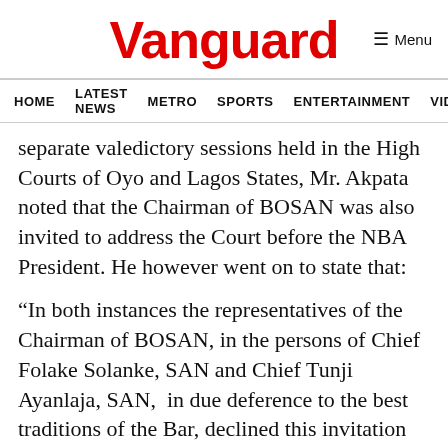Vanguard
HOME  LATEST NEWS  METRO  SPORTS  ENTERTAINMENT  VIDEOS
separate valedictory sessions held in the High Courts of Oyo and Lagos States, Mr. Akpata noted that the Chairman of BOSAN was also invited to address the Court before the NBA President. He however went on to state that:
“In both instances the representatives of the Chairman of BOSAN, in the persons of Chief Folake Solanke, SAN and Chief Tunji Ayanlaja, SAN,  in due deference to the best traditions of the Bar, declined this invitation and invited the NBA President to deliver his address before them